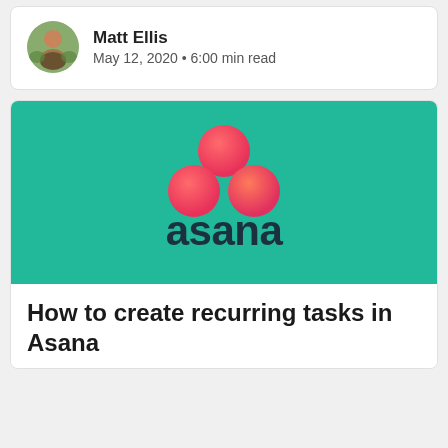Matt Ellis
May 12, 2020 • 6:00 min read
[Figure (logo): Asana logo on teal/green background with three coral/pink circles arranged in a triangle above the word 'asana' in dark navy text]
How to create recurring tasks in Asana